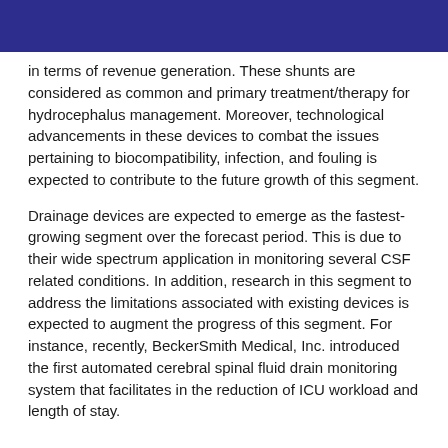in terms of revenue generation. These shunts are considered as common and primary treatment/therapy for hydrocephalus management. Moreover, technological advancements in these devices to combat the issues pertaining to biocompatibility, infection, and fouling is expected to contribute to the future growth of this segment.
Drainage devices are expected to emerge as the fastest-growing segment over the forecast period. This is due to their wide spectrum application in monitoring several CSF related conditions. In addition, research in this segment to address the limitations associated with existing devices is expected to augment the progress of this segment. For instance, recently, BeckerSmith Medical, Inc. introduced the first automated cerebral spinal fluid drain monitoring system that facilitates in the reduction of ICU workload and length of stay.